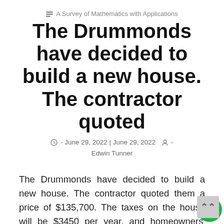A Survey of Mathematics with Applications
The Drummonds have decided to build a new house. The contractor quoted
- June 29, 2022 | June 29, 2022  - Edwin Tunner
The Drummonds have decided to build a new house. The contractor quoted them a price of $135,700. The taxes on the house will be $3450 per year, and homeowners' insurance will be